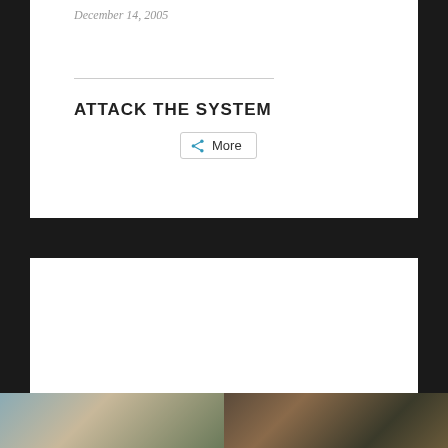December 14, 2005
ATTACK THE SYSTEM
More
Leave a Reply
Enter your comment here...
[Figure (photo): Two image thumbnails at bottom: left shows a monument/building in misty tones, right shows a darker scene with flags or similar subject]